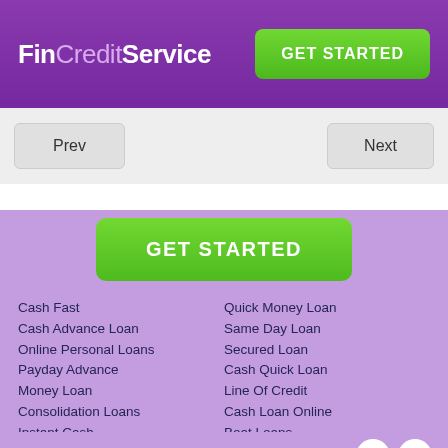FinCreditService — GET STARTED
Prev   Next
[Figure (screenshot): GET STARTED green button centered on purple background]
Cash Fast
Cash Advance Loan
Online Personal Loans
Payday Advance
Money Loan
Consolidation Loans
Instant Cash
Small Personal Loans
Get A Loan
Money Lenders
Quick Money Loan
Same Day Loan
Secured Loan
Cash Quick Loan
Line Of Credit
Cash Loan Online
Boat Loans
Cash Today
Casha Advance
Easy Loan
FinCreditService [Facebook] [Twitter]